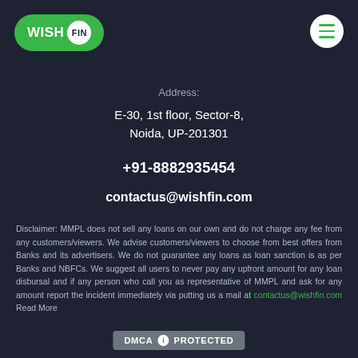[Figure (logo): WishFin logo — green pill shape with WISH text and FIN in a white circle]
[Figure (other): Hamburger menu button — white circle with three green horizontal lines]
Address:
E-30, 1st floor, Sector-8, Noida, UP-201301
+91-8882935454
contactus@wishfin.com
Disclaimer: MMPL does not sell any loans on our own and do not charge any fee from any customers/viewers. We advise customers/viewers to choose from best offers from Banks and its advertisers. We do not guarantee any loans as loan sanction is as per Banks and NBFCs. We suggest all users to never pay any upfront amount for any loan disbursal and if any person who call you as representative of MMPL and ask for any amount report the incident immediately via putting us a mail at contactus@wishfin.com Read More
[Figure (logo): DMCA Protected badge — grey rounded rectangle with DMCA info icon and PROTECTED text]